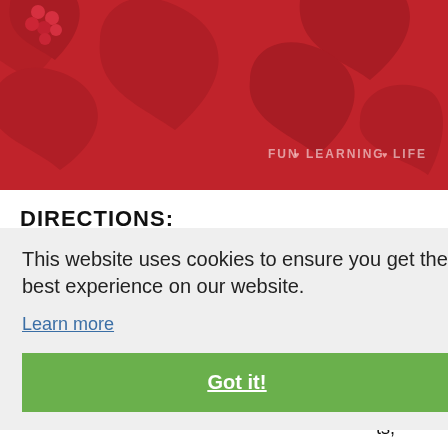[Figure (photo): Red silicone heart-shaped mold tray with small red candies/balls in one heart cavity. Watermark reads FUN+LEARNING+LIFE in bottom right corner.]
DIRECTIONS:
This website uses cookies to ensure you get the best experience on our website.
Learn more
Got it!
ner in
ts,